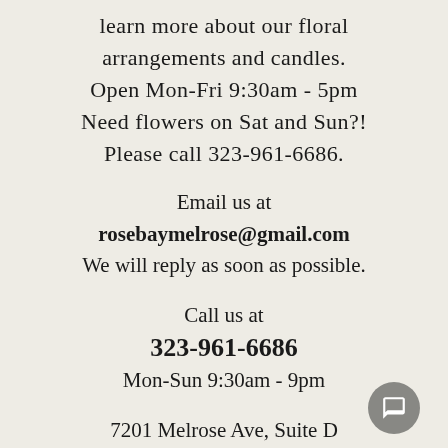learn more about our floral arrangements and candles. Open Mon-Fri 9:30am - 5pm Need flowers on Sat and Sun?! Please call 323-961-6686.
Email us at rosebaymelrose@gmail.com We will reply as soon as possible.
Call us at 323-961-6686 Mon-Sun 9:30am - 9pm
7201 Melrose Ave, Suite D Los Angeles, CA 90046